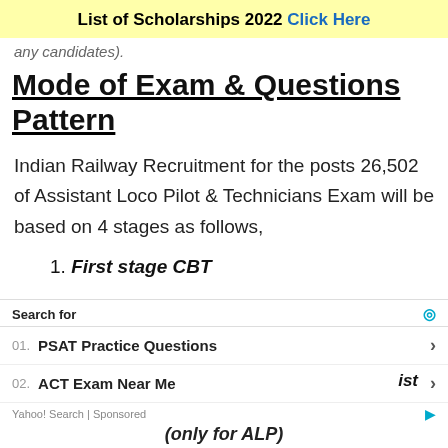List of Scholarships 2022 Click Here
any candidates).
Mode of Exam & Questions Pattern
Indian Railway Recruitment for the posts 26,502 of Assistant Loco Pilot & Technicians Exam will be based on 4 stages as follows,
1. First stage CBT
[Figure (screenshot): Yahoo Search sponsored ad box with search results for PSAT Practice Questions and ACT Exam Near Me]
(only for ALP)